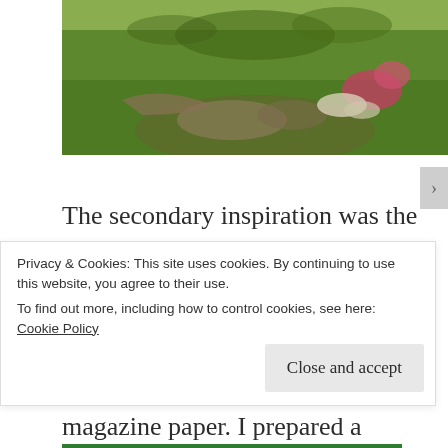[Figure (photo): Outdoor garden scene with green grass and decorative rocks/plants arrangement]
The secondary inspiration was the Buhay Makulay Children's Fair we held in November 2013, at a girls' shelter in Marillac Hills. One of the highlights was a mural collage of butterflies made out of recycled magazine paper. I prepared a painting of tree – just trunk and branches. The rest was up to our special guests
Privacy & Cookies: This site uses cookies. By continuing to use this website, you agree to their use.
To find out more, including how to control cookies, see here: Cookie Policy
Close and accept